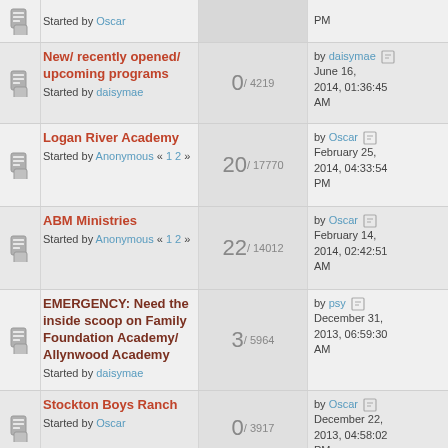Started by Oscar | PM
New/ recently opened/ upcoming programs | Started by daisymae | 0 / 4219 | by daisymae June 16, 2014, 01:36:45 AM
Logan River Academy | Started by Anonymous « 1 2 » | 20 / 17770 | by Oscar February 25, 2014, 04:33:54 PM
ABM Ministries | Started by Anonymous « 1 2 » | 22 / 14012 | by Oscar February 14, 2014, 02:42:51 AM
EMERGENCY: Need the inside scoop on Family Foundation Academy/ Allynwood Academy | Started by daisymae | 3 / 5964 | by psy December 31, 2013, 06:59:30 AM
Stockton Boys Ranch | Started by Oscar | 0 / 3917 | by Oscar December 22, 2013, 04:58:02 PM